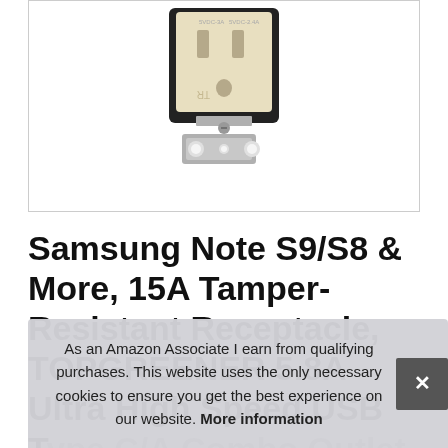[Figure (photo): Close-up photo of a cream/ivory colored 15A tamper-resistant electrical outlet/receptacle with USB charging ports, labeled 5VDC-3A and 5VDC-2.4A, with metal mounting bracket visible at bottom.]
Samsung Note S9/S8 & More, 15A Tamper-Resistant Receptacle, TOPGREENER 5.8A Ultra High Speed USB Type C/A Combo Outlet with IC All Compatible Charging Protocol Protected, Listed
As an Amazon Associate I earn from qualifying purchases. This website uses the only necessary cookies to ensure you get the best experience on our website. More information